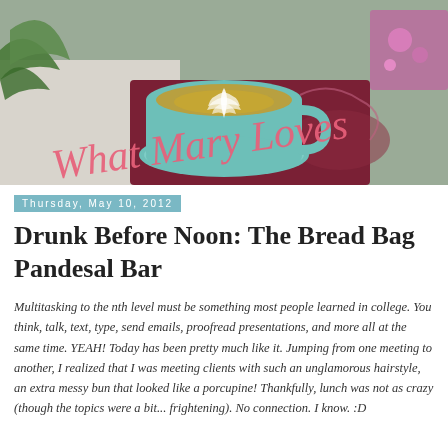[Figure (photo): Blog header banner showing a matcha latte in a teal/mint cup on a saucer, with a leaf latte art design, placed on a dark red/maroon surface. A plant with green leaves is visible on the left, and colorful items on the right. The text 'What Mary Loves' is overlaid in a pink/coral cursive script.]
Thursday, May 10, 2012
Drunk Before Noon: The Bread Bag Pandesal Bar
Multitasking to the nth level must be something most people learned in college. You think, talk, text, type, send emails, proofread presentations, and more all at the same time. YEAH! Today has been pretty much like it. Jumping from one meeting to another, I realized that I was meeting clients with such an unglamorous hairstyle, an extra messy bun that looked like a porcupine! Thankfully, lunch was not as crazy (though the topics were a bit... frightening). No connection. I know. :D